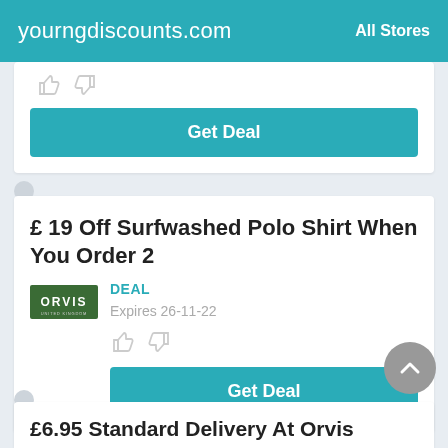yourngdiscounts.com | All Stores
[Figure (screenshot): Partial deal card showing thumbs up/down icons and a teal Get Deal button]
£ 19 Off Surfwashed Polo Shirt When You Order 2
DEAL
Expires 26-11-22
[Figure (logo): Orvis logo - green rectangle with white ORVIS text]
Get Deal
£6.95 Standard Delivery At Orvis